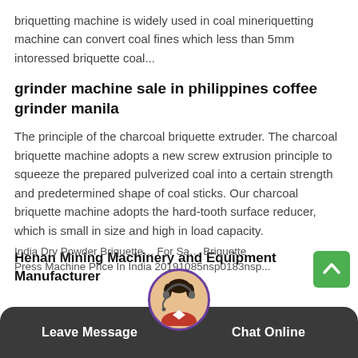briquetting machine is widely used in coal mineriquetting machine can convert coal fines which less than 5mm intoressed briquette coal...
grinder machine sale in philippines coffee grinder manila
The principle of the charcoal briquette extruder. The charcoal briquette machine adopts a new screw extrusion principle to squeeze the prepared pulverized coal into a certain strength and predetermined shape of coal sticks. Our charcoal briquette machine adopts the hard-tooth surface reducer, which is small in size and high in load capacity.
Henan Mining Machinery and Equipment Manufacturer
India Dry Powder Briquette For Sa... Briquette Press Machine Price In India 20191085nsp0183nsp...
Leave Message   Chat Online